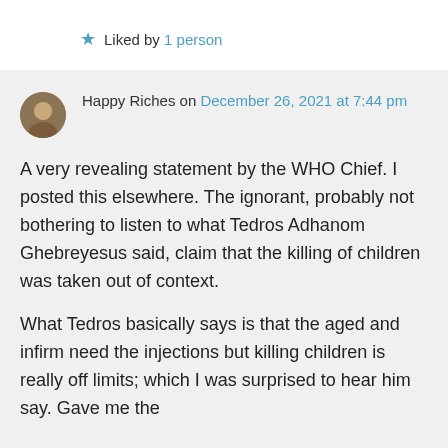★ Liked by 1 person
Happy Riches on December 26, 2021 at 7:44 pm
A very revealing statement by the WHO Chief. I posted this elsewhere. The ignorant, probably not bothering to listen to what Tedros Adhanom Ghebreyesus said, claim that the killing of children was taken out of context.
What Tedros basically says is that the aged and infirm need the injections but killing children is really off limits; which I was surprised to hear him say. Gave me the